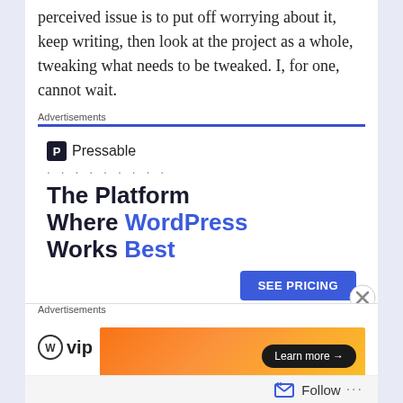perceived issue is to put off worrying about it, keep writing, then look at the project as a whole, tweaking what needs to be tweaked. I, for one, cannot wait.
Advertisements
[Figure (screenshot): Pressable advertisement: logo with P icon, dotted line, tagline 'The Platform Where WordPress Works Best', blue SEE PRICING button]
Advertisements
[Figure (screenshot): WP VIP logo and orange gradient advertisement with Learn more button]
Follow